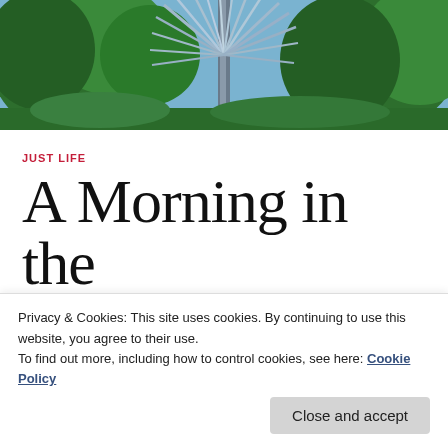[Figure (photo): Outdoor garden photo showing green trees, blue sky, and a decorative metallic spiky sculpture or plant in center foreground]
JUST LIFE
A Morning in the Garden.
Privacy & Cookies: This site uses cookies. By continuing to use this website, you agree to their use.
To find out more, including how to control cookies, see here: Cookie Policy
Close and accept
kickoff Mother's Day weekend: I had visited the